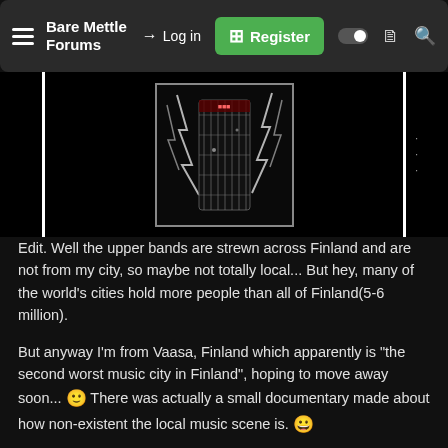Bare Mettle Forums — Log in | Register
[Figure (photo): Black and white photo of a guitar with lightning bolts in the background, displayed between two white vertical bars on a black background, partially cropped with navigation dots on the right side.]
Edit. Well the upper bands are strewn across Finland and are not from my city, so maybe not totally local... But hey, many of the world's cities hold more people than all of Finland(5-6 million).
But anyway I'm from Vaasa, Finland which apparently is "the second worst music city in Finland", hoping to move away soon... 🙂 There was actually a small documentary made about how non-existent the local music scene is. 😀
Well here is a band from my city that plays progressive folk rock. I just saw them perform a couple of days ago with a small local orchestra. I don't